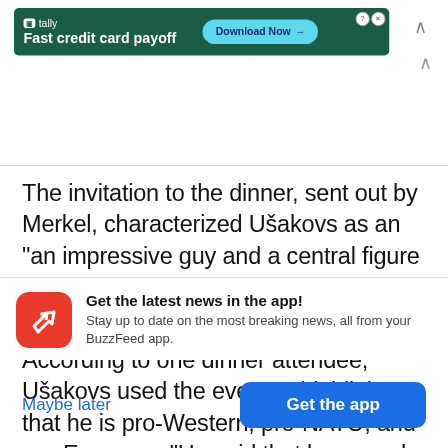[Figure (screenshot): Tally app advertisement banner with dark green background, Tally logo, text 'Fast credit card payoff', and a 'Download Now' button]
The invitation to the dinner, sent out by Merkel, characterized Ušakovs as an “an impressive guy and a central figure in Latvian politics.”
According to one dinner attendee, Ušakovs used the event to highlight that he is pro-Western, pro-NATO, and pro-European.“He said that because he is so pro-Western, he has alienated some of his
[Figure (screenshot): BuzzFeed app notification card with red icon showing white arrow, headline 'Get the latest news in the app!', subtext 'Stay up to date on the most breaking news, all from your BuzzFeed app.']
Maybe later
Get the app